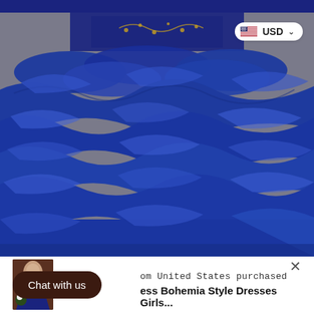[Figure (photo): Close-up photo of a royal blue ruffled ball gown skirt with layered organza/satin ruffles, displayed on a gray background. The bodice top shows gold embroidery detail. A USD currency selector badge is overlaid in the top right corner of the image.]
om United States purchased
ess Bohemia Style Dresses Girls...
Chat with us
×